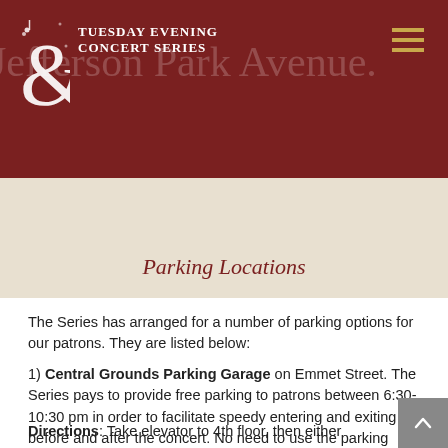Tuesday Evening Concert Series — header banner with logo
Parking Locations
The Series has arranged for a number of parking options for our patrons. They are listed below:
1) Central Grounds Parking Garage on Emmet Street. The Series pays to provide free parking to patrons between 6:30-10:30 pm in order to facilitate speedy entering and exiting before and after the concert. No need to use the parking meter machines.
Directions: Take elevator to 4th floor, then either